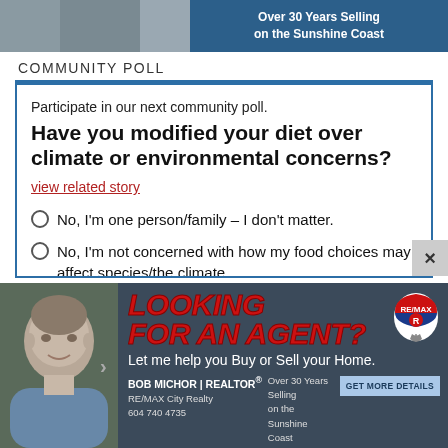[Figure (photo): Top advertisement banner showing partial image on left and blue background with text 'Over 30 Years Selling on the Sunshine Coast' on right]
COMMUNITY POLL
Participate in our next community poll.
Have you modified your diet over climate or environmental concerns?
view related story
No, I'm one person/family – I don't matter.
No, I'm not concerned with how my food choices may affect species/the climate.
Sort of, I'm aware of it but I don't make many environment-related food choices.
[Figure (photo): RE/MAX real estate advertisement with photo of Bob Michor, realtor. Text: LOOKING FOR AN AGENT? Let me help you Buy or Sell your Home. BOB MICHOR | REALTOR® RE/MAX City Realty 604 740 4735. Over 30 Years Selling on the Sunshine Coast. GET MORE DETAILS button.]